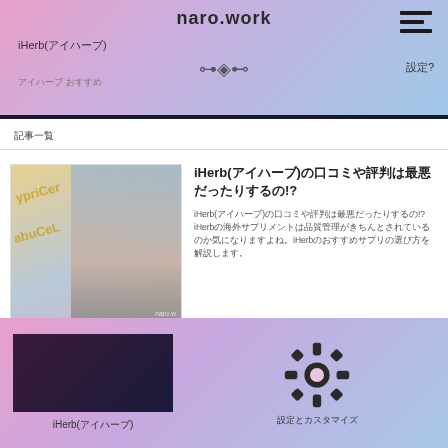naro.work
iHerb(アイハーブ)
記事一覧
[Figure (screenshot): Article thumbnail showing pills/supplements overlaid with a woman's face in blue tones, with text naro.work watermark]
iHerb(アイハーブ)
iHerb(アイハーブ)の口コミや評判は最悪だったりするの!?
iHerb(アイハーブ)の口コミや評判は最悪だったりするの!?iHerbの海外サプリメントは品質管理がきちんとされているのか気になりますよね。iHerbのおすすめサプリの選び方を解説します。
[Figure (screenshot): Dark gaming-style thumbnail with iHerb branding, green text showing 最安値のレチノールセラムを]
iHerb(アイハーブ)最安値のレチノールセラムを探してみた
iHerb(アイハーブ)